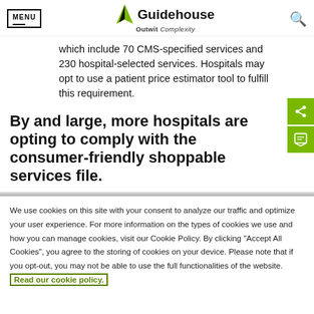MENU | Guidehouse — Outwit Complexity
which include 70 CMS-specified services and 230 hospital-selected services. Hospitals may opt to use a patient price estimator tool to fulfill this requirement.
By and large, more hospitals are opting to comply with the consumer-friendly shoppable services file.
We use cookies on this site with your consent to analyze our traffic and optimize your user experience. For more information on the types of cookies we use and how you can manage cookies, visit our Cookie Policy. By clicking "Accept All Cookies", you agree to the storing of cookies on your device. Please note that if you opt-out, you may not be able to use the full functionalities of the website. Read our cookie policy.